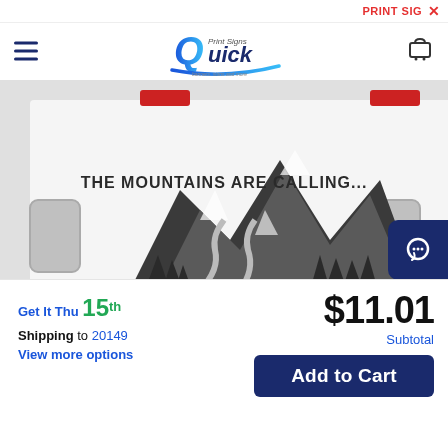PRINT SIG  X
[Figure (logo): Quick Print Signs logo with stylized Q and swoosh]
[Figure (photo): RV/camper van rear with mountain scene decal reading 'The Mountains Are Calling... And I Must Go!']
Get It Thu 15th
Shipping to 20149
View more options
$11.01
Subtotal
Add to Cart